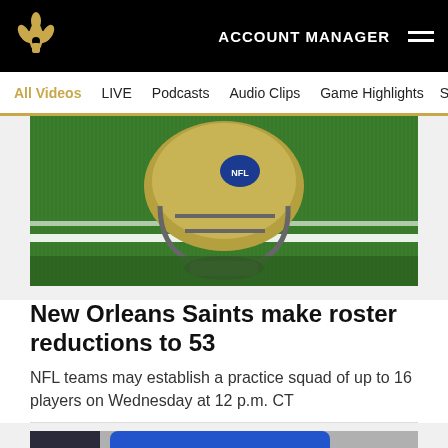ACCOUNT MANAGER
All Videos  LIVE  Podcasts  Audio Clips  Game Highlights  Sai
[Figure (photo): Close-up of a football helmet on a green turf field with white yard line markings]
New Orleans Saints make roster reductions to 53
NFL teams may establish a practice squad of up to 16 players on Wednesday at 12 p.m. CT
[Figure (photo): Close-up photo of athletic legs in blue shorts walking outdoors, with a car visible in the background]